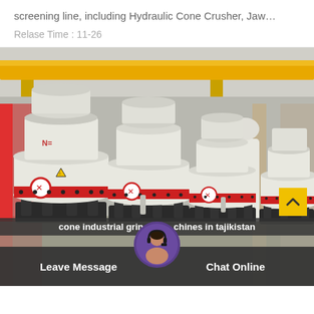screening line, including Hydraulic Cone Crusher, Jaw…
Relase Time : 11-26
[Figure (photo): Photograph of multiple large white hydraulic cone crushers with red accent rings, black frames, inside an industrial factory with yellow overhead crane beams.]
cone industrial grind chines in tajikistan
Leave Message
Chat Online